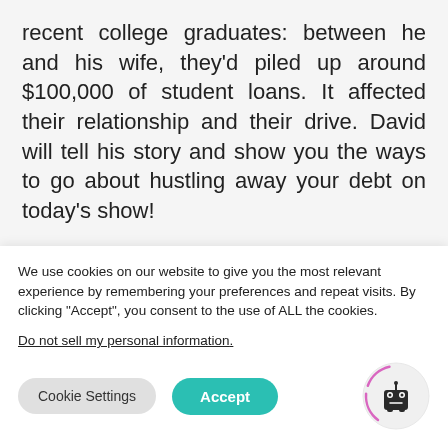recent college graduates: between he and his wife, they'd piled up around $100,000 of student loans. It affected their relationship and their drive. David will tell his story and show you the ways to go about hustling away your debt on today's show!
Also, we've got LOTS of celebrities in the headlines today. We'll talk about Prince, Kelly Ripa, and Michael Strahan. Doug has
We use cookies on our website to give you the most relevant experience by remembering your preferences and repeat visits. By clicking "Accept", you consent to the use of ALL the cookies.
Do not sell my personal information.
[Figure (logo): Cookie consent robot logo — a small cartoon robot icon inside a circular border with pink/purple arc decoration]